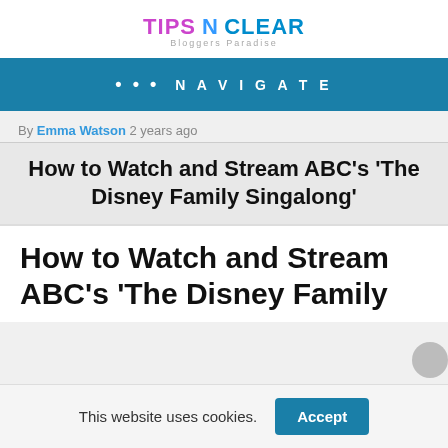TIPS N CLEAR Bloggers Paradise
••• NAVIGATE
By Emma Watson 2 years ago
How to Watch and Stream ABC's 'The Disney Family Singalong'
How to Watch and Stream ABC's 'The Disney Family
This website uses cookies. Accept